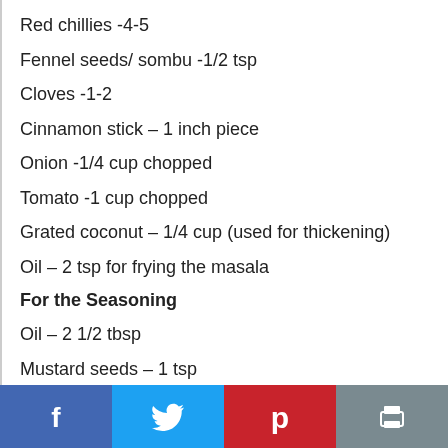Red chillies -4-5
Fennel seeds/ sombu -1/2 tsp
Cloves -1-2
Cinnamon stick – 1 inch piece
Onion -1/4 cup chopped
Tomato -1 cup chopped
Grated coconut – 1/4 cup (used for thickening)
Oil – 2 tsp for frying the masala
For the Seasoning
Oil – 2 1/2 tbsp
Mustard seeds – 1 tsp
Shallots/ pearl onions – 6-7 (cut it into half)
Curry leaves – a sprig